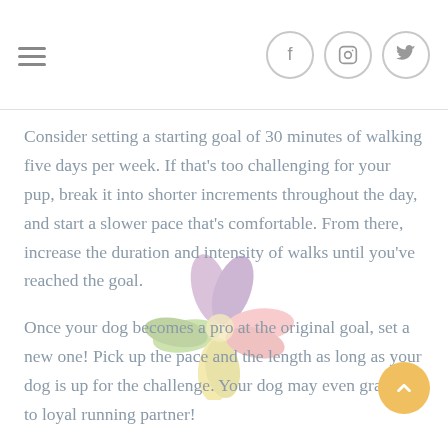Consider setting a starting goal of 30 minutes of walking five days per week. If that’s too challenging for your pup, break it into shorter increments throughout the day, and start a slower pace that’s comfortable. From there, increase the duration and intensity of walks until you’ve reached the goal.
Once your dog becomes a pro at the original goal, set a new one! Pick up the pace and the length as long as your dog is up for the challenge. Your dog may even graduate to loyal running partner!
Be mindful of terrain, especially with a dog